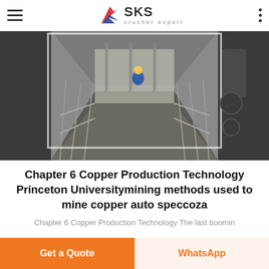SKS crusher expert
[Figure (photo): Industrial machinery/plant walkway corridor with metal scaffolding and grating, a worker in blue safety gear visible in the background, industrial equipment on both sides]
Chapter 6 Copper Production Technology Princeton Universitymining methods used to mine copper auto speccoza
Chapter 6 Copper Production Technology The last boomin
Get a Quote   WhatsApp